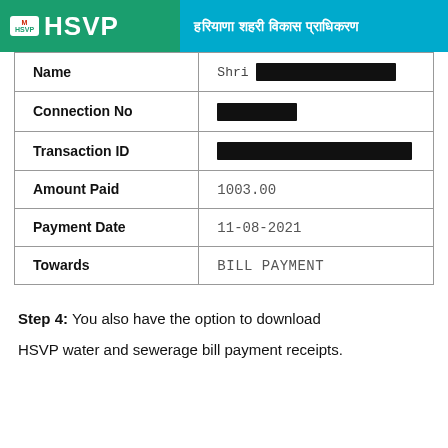[Figure (logo): HSVP (Haryana Shahari Vikas Pradhikaran) logo banner with green and blue background, HSVP text and Hindi text]
| Name | Shri [REDACTED] |
| Connection No | [REDACTED] |
| Transaction ID | [REDACTED] |
| Amount Paid | 1003.00 |
| Payment Date | 11-08-2021 |
| Towards | BILL PAYMENT |
Step 4: You also have the option to download HSVP water and sewerage bill payment receipts.